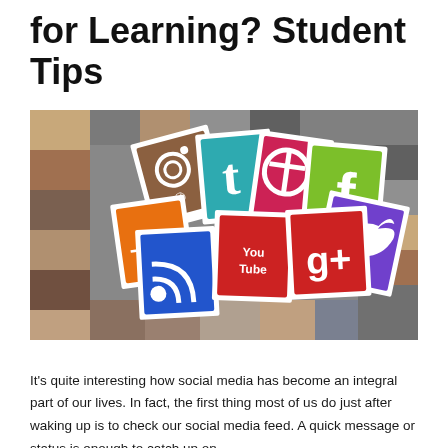for Learning? Student Tips
[Figure (photo): Collage of social media platform icons (Instagram, Tumblr, Pinterest, Facebook, Twitter, Google+, YouTube, RSS) arranged as polaroid-style cards against a background mosaic of people's faces.]
It’s quite interesting how social media has become an integral part of our lives. In fact, the first thing most of us do just after waking up is to check our social media feed. A quick message or status is enough to catch up on